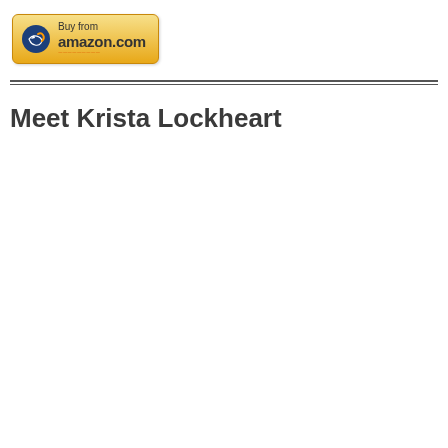[Figure (logo): Buy from amazon.com button with Amazon logo/icon]
Meet Krista Lockheart